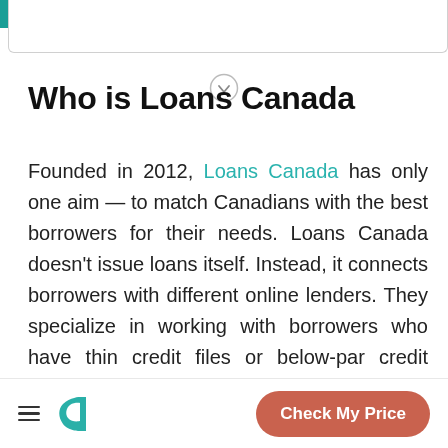Who is Loans Canada
Founded in 2012, Loans Canada has only one aim — to match Canadians with the best borrowers for their needs. Loans Canada doesn't issue loans itself. Instead, it connects borrowers with different online lenders. They specialize in working with borrowers who have thin credit files or below-par credit scores or who are going through bankruptcy or consumer proposal.
Check My Price